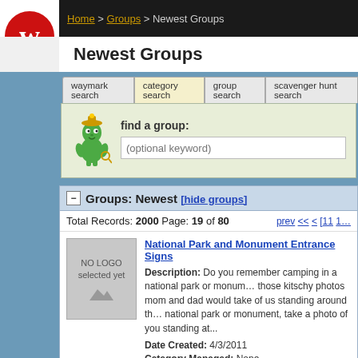Home > Groups > Newest Groups
Newest Groups
waymark search | category search | group search | scavenger hunt search
find a group: (optional keyword)
Groups: Newest [hide groups]
Total Records: 2000 Page: 19 of 80
National Park and Monument Entrance Signs
Description: Do you remember camping in a national park or monument... those kitschy photos mom and dad would take of us standing around th... national park or monument, take a photo of you standing at...
Date Created: 4/3/2011
Category Managed: None
Members: 5
Solved Mysteries